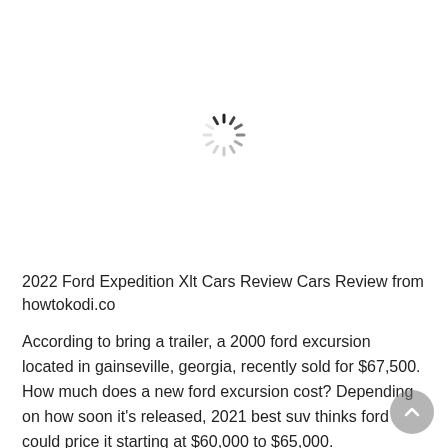[Figure (other): Loading spinner / activity indicator — a circular set of radial lines fading from dark to light, indicating content is loading]
2022 Ford Expedition Xlt Cars Review Cars Review from howtokodi.co
According to bring a trailer, a 2000 ford excursion located in gainseville, georgia, recently sold for $67,500. How much does a new ford excursion cost? Depending on how soon it’s released, 2021 best suv thinks ford could price it starting at $60,000 to $65,000.